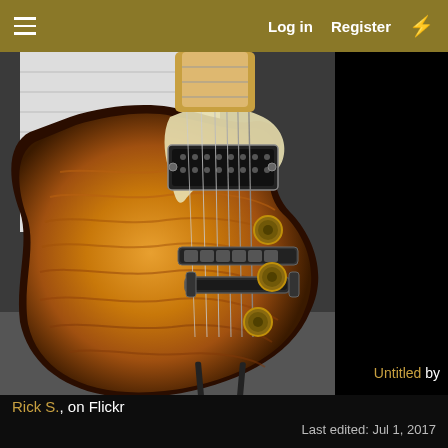Log in   Register  ⚡
[Figure (photo): Close-up photo of a Les Paul style electric guitar body with flame maple top in a honey burst finish, gold hardware including bridge, tailpiece and knobs, visible pickup, on a guitar stand against a wooden wall background.]
Untitled by Rick S., on Flickr
Last edited: Jul 1, 2017